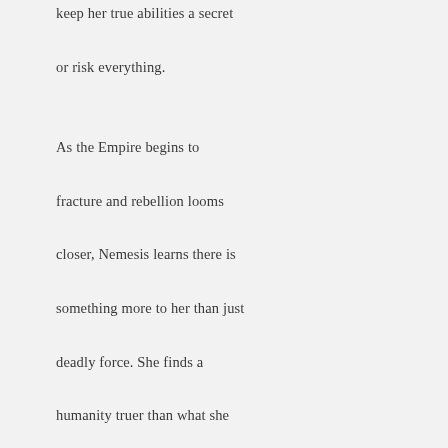keep her true abilities a secret or risk everything.

As the Empire begins to fracture and rebellion looms closer, Nemesis learns there is something more to her than just deadly force. She finds a humanity truer than what she encounters from most humans. Amidst all the danger, action, and intrigue, her humanity just might be the thing that saves